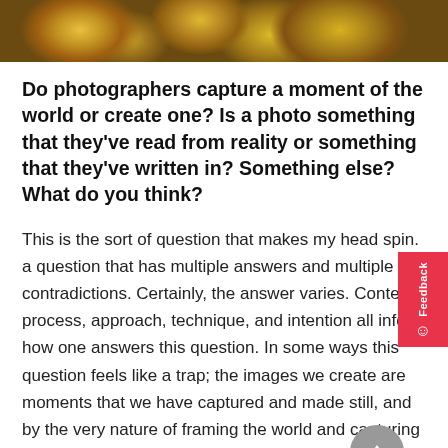[Figure (photo): Top portion of a photograph showing colorful floral decorations or arrangements, predominantly yellow, pink, and green tones against a dark background.]
Do photographers capture a moment of the world or create one? Is a photo something that they've read from reality or something that they've written in? Something else? What do you think?
This is the sort of question that makes my head spin. a question that has multiple answers and multiple contradictions. Certainly, the answer varies. Content, process, approach, technique, and intention all inform how one answers this question. In some ways this question feels like a trap; the images we create are moments that we have captured and made still, and by the very nature of framing the world and capturing a moment, one could argue they created that moment into